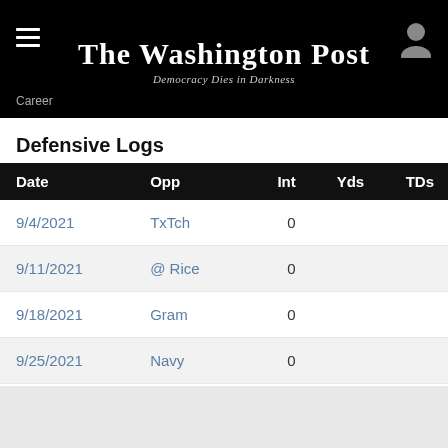The Washington Post — Democracy Dies in Darkness
Defensive Logs
| Date | Opp | Int | Yds | TDs |
| --- | --- | --- | --- | --- |
| 9/4/2021 | TxTch | 0 |  |  |
| 9/11/2021 | @ Rice | 0 |  |  |
| 9/18/2021 | Gram | 0 |  |  |
| 9/25/2021 | Navy | 0 |  |  |
| 10/1/2021 | @ Tulsa | 0 |  |  |
| 10/7/2021 | @ Tulane | 0 |  |  |
| 10/23/2021 | ECU | 0 |  |  |